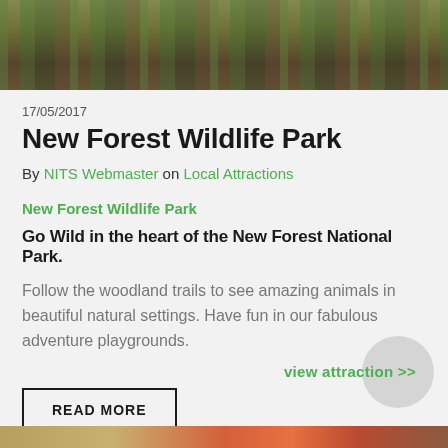[Figure (photo): Top portion of a forest/wildlife park photo showing wooden structure among green trees]
17/05/2017
New Forest Wildlife Park
By NITS Webmaster on Local Attractions
New Forest Wildlife Park
Go Wild in the heart of the New Forest National Park.
Follow the woodland trails to see amazing animals in beautiful natural settings. Have fun in our fabulous adventure playgrounds.
view attraction >>
READ MORE
[Figure (photo): Bottom strip of another image showing warm orange/red tones at bottom of page]